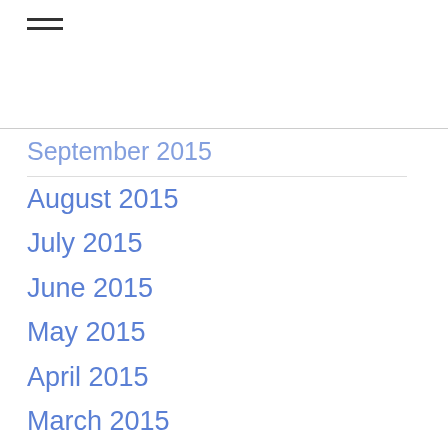September 2015
August 2015
July 2015
June 2015
May 2015
April 2015
March 2015
February 2015
January 2015
December 2014
November 2014
October 2014
September 2014
August 2014
July 2014
June 2014
May 2014
April 2014